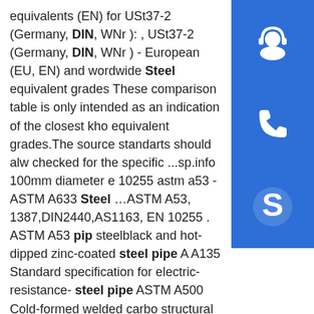equivalents (EN) for USt37-2 (Germany, DIN, WNr ): , USt37-2 (Germany, DIN, WNr ) - European (EU, EN) and wordwide Steel equivalent grades These comparison table is only intended as an indication of the closest khown equivalent grades.The source standarts should always be checked for the specific ...sp.info 100mm diameter en 10255 astm a53 - ASTM A633 Steel …ASTM A53, 1387,DIN2440,AS1163, EN 10255 . ASTM A53 pip steelblack and hot-dipped zinc-coated steel pipe ASTM A135 Standard specification for electric-resistance- steel pipe ASTM A500 Cold-formed welded carbon structural tubing in round and shapes ASTM A702 Standard specification for steel fence posts and assemblies hot wrought ASTM F1083 standard specification for pipe …sp.info Pipe Laser Cutting Machine 500W 3mm stainless steel sheet ...Steel Pipe Making Machine | RISE STEEL. 21.5 Inch Led Tv Newest 65/70 Inch Curved 4K Ultra HD 3D Smart LED TV | KTC Bunting is the leader for Metal Detection in Plastics.
[Figure (illustration): Three blue square icons stacked vertically on the right side: headset/customer support icon, phone icon, Skype icon]